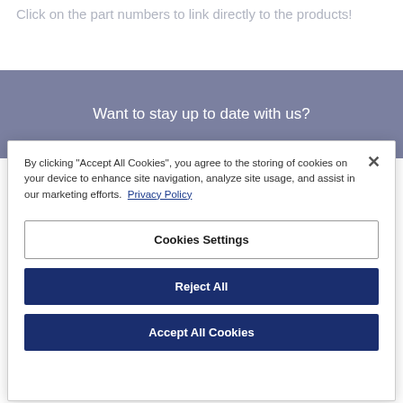Click on the part numbers to link directly to the products!
Want to stay up to date with us?
By clicking "Accept All Cookies", you agree to the storing of cookies on your device to enhance site navigation, analyze site usage, and assist in our marketing efforts. Privacy Policy
Cookies Settings
Reject All
Accept All Cookies